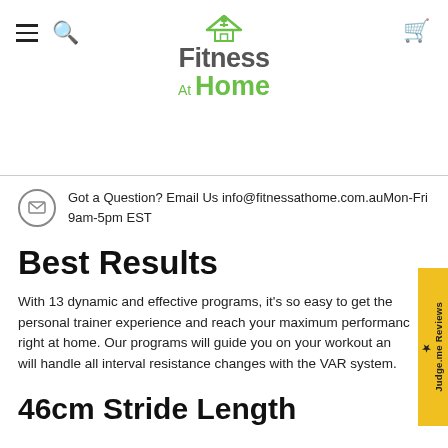Fitness At Home — navigation header with logo
Got a Question? Email Us info@fitnessathome.com.au Mon-Fri 9am-5pm EST
Best Results
With 13 dynamic and effective programs, it's so easy to get the personal trainer experience and reach your maximum performance right at home. Our programs will guide you on your workout and will handle all interval resistance changes with the VAR system.
46cm Stride Length
Get the most out of your workout
With an extra-long 46cm Stride, you'll feel more comfortable and experience a bigger elliptical workout motion to burn more calories.
Workout Data at a Glance